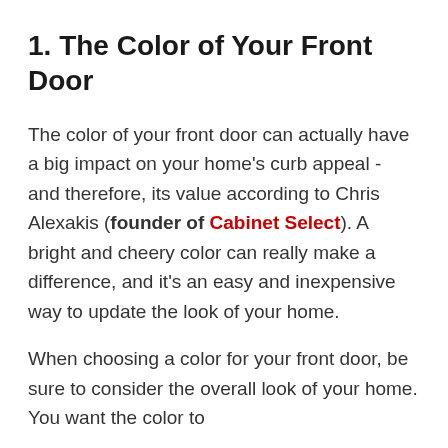1. The Color of Your Front Door
The color of your front door can actually have a big impact on your home's curb appeal - and therefore, its value according to Chris Alexakis (founder of Cabinet Select). A bright and cheery color can really make a difference, and it's an easy and inexpensive way to update the look of your home.
When choosing a color for your front door, be sure to consider the overall look of your home. You want the color to